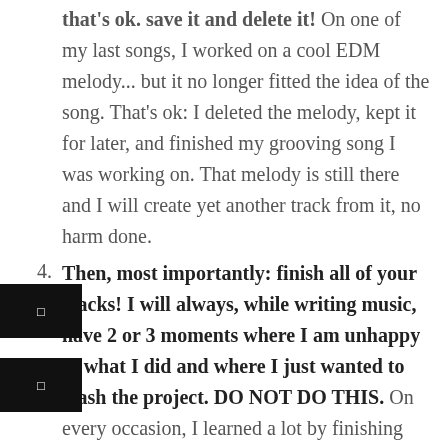that's ok. save it and delete it! On one of my last songs, I worked on a cool EDM melody... but it no longer fitted the idea of the song. That's ok: I deleted the melody, kept it for later, and finished my grooving song I was working on. That melody is still there and I will create yet another track from it, no harm done.
Then, most importantly: finish all of your tracks! I will always, while writing music, have 2 or 3 moments where I am unhappy of what I did and where I just wanted to trash the project. DO NOT DO THIS. On every occasion, I learned a lot by finishing the track. At the end, you will know what you should have done different in the beginning